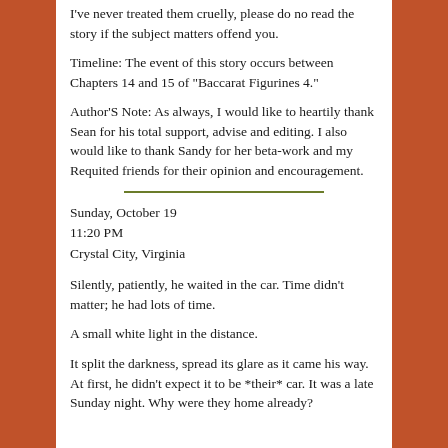I've never treated them cruelly, please do no read the story if the subject matters offend you.
Timeline: The event of this story occurs between Chapters 14 and 15 of "Baccarat Figurines 4."
Author'S Note: As always, I would like to heartily thank Sean for his total support, advise and editing. I also would like to thank Sandy for her beta-work and my Requited friends for their opinion and encouragement.
Sunday, October 19
11:20 PM
Crystal City, Virginia
Silently, patiently, he waited in the car. Time didn't matter; he had lots of time.
A small white light in the distance.
It split the darkness, spread its glare as it came his way. At first, he didn't expect it to be *their* car. It was a late Sunday night. Why were they home already?